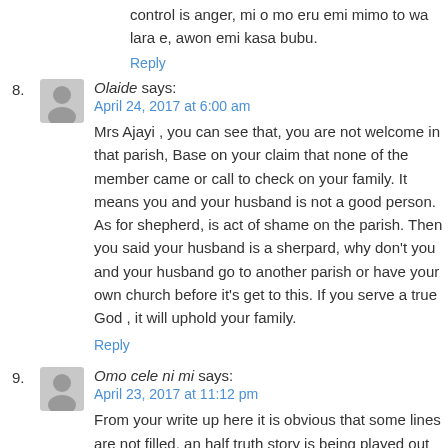control is anger, mi o mo eru emi mimo to wa lara e, awon emi kasa bubu.
Reply
8. Olaide says:
April 24, 2017 at 6:00 am
Mrs Ajayi , you can see that, you are not welcome in that parish, Base on your claim that none of the member came or call to check on your family. It means you and your husband is not a good person. As for shepherd, is act of shame on the parish. Then you said your husband is a sherpard, why don't you and your husband go to another parish or have your own church before it's get to this. If you serve a true God , it will uphold your family.
Reply
9. Omo cele ni mi says:
April 23, 2017 at 11:12 pm
From your write up here it is obvious that some lines are not filled, an half truth story is being played out here. For instance if your husband is a registered Shepard why can't he just go and start his own parish rather than causing